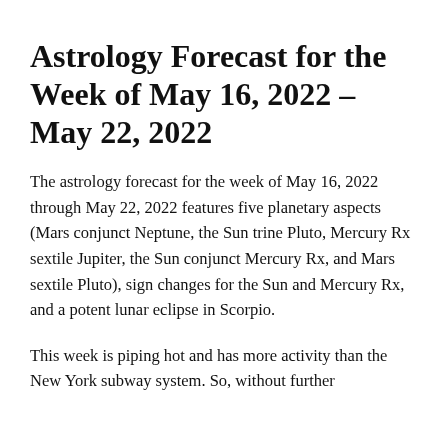Astrology Forecast for the Week of May 16, 2022 – May 22, 2022
The astrology forecast for the week of May 16, 2022 through May 22, 2022 features five planetary aspects (Mars conjunct Neptune, the Sun trine Pluto, Mercury Rx sextile Jupiter, the Sun conjunct Mercury Rx, and Mars sextile Pluto), sign changes for the Sun and Mercury Rx, and a potent lunar eclipse in Scorpio.
This week is piping hot and has more activity than the New York subway system. So, without further